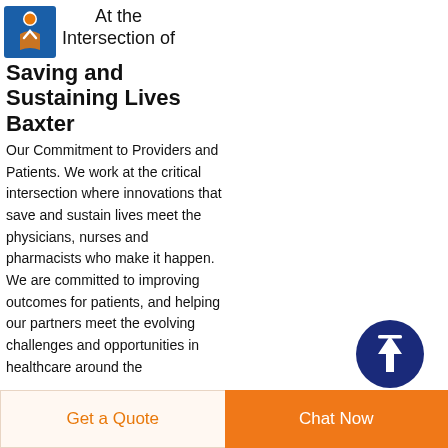[Figure (logo): Baxter company logo - blue square with stylized figure icon in orange/white]
At the Intersection of Saving and Sustaining Lives Baxter
Our Commitment to Providers and Patients. We work at the critical intersection where innovations that save and sustain lives meet the physicians, nurses and pharmacists who make it happen. We are committed to improving outcomes for patients, and helping our partners meet the evolving challenges and opportunities in healthcare around the
[Figure (other): Dark blue circle with white upward arrow icon - scroll to top or navigation button]
Get a Quote
Chat Now